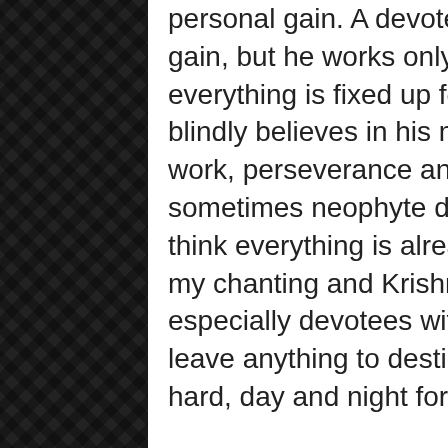personal gain. A devotee doesn't work for his personal gain, but he works only for Krishna. So even though everything is fixed up for non-devotees, a devotee doesn't blindly believes in his material destiny or luck, but in hard work, perseverance and Krishna's mercy. I have seen sometimes neophyte devotees become lazy because they think everything is already fixed up, let me just focus on my chanting and Krishna will do everything. A devotee, especially devotees with Ksatriya gunas should never leave anything to destiny, but should endeavour very hard, day and night for Lord Krishna.
Sri Laxmanji, Valmiki Ramayan
विक्लवो वीर्यहीनो यः स दैवमनुवर्तते । शूरो दैवमतिक्रम्य य स यत्नेन विन्दति
Viklavo veeryaheeno yah sa daivamanuvartate